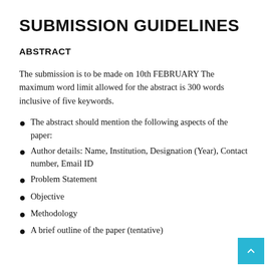SUBMISSION GUIDELINES
ABSTRACT
The submission is to be made on 10th FEBRUARY The maximum word limit allowed for the abstract is 300 words inclusive of five keywords.
The abstract should mention the following aspects of the paper:
Author details: Name, Institution, Designation (Year), Contact number, Email ID
Problem Statement
Objective
Methodology
A brief outline of the paper (tentative)